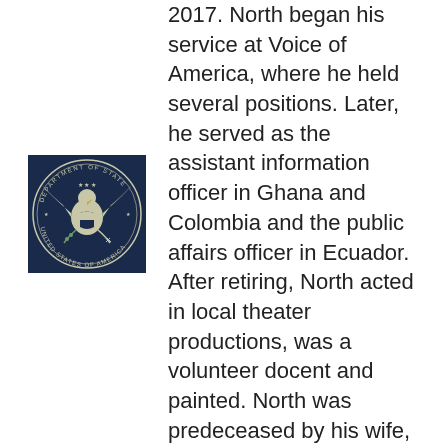2017. North began his service at Voice of America, where he held several positions. Later, he served as the assistant information officer in Ghana and Colombia and the public affairs officer in Ecuador. After retiring, North acted in local theater productions, was a volunteer docent and painted. North was predeceased by his wife, Helen H. North.
[Figure (logo): U.S. Department of State seal — dark navy blue square with the Great Seal of the United States (eagle with shield, olive branch and arrows), surrounded by text 'DEPARTMENT OF STATE' and 'UNITED STATES OF AMERICA']
Betsy Ross Peters, 90, died Nov. 21, 2018. Peters earned a bachelor's degree from Baylor University, a master's degree from the University of Maryland and a doctorate from the University of